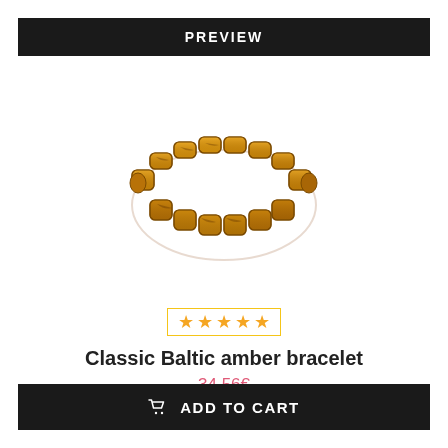PREVIEW
[Figure (photo): Classic Baltic amber bracelet — stretch bracelet made of flat rectangular golden-honey amber stones with dark brown veining, arranged in a band forming a circle.]
★★★★★
Classic Baltic amber bracelet
34.56€
ADD TO CART